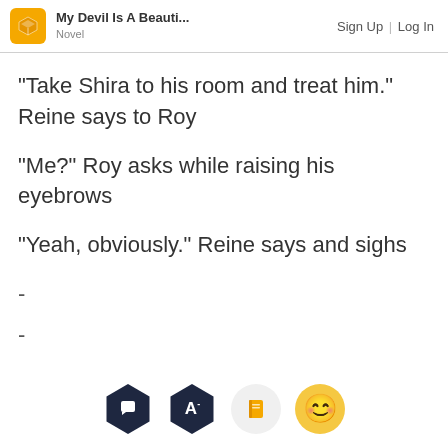My Devil Is A Beauti... Novel | Sign Up | Log In
"Take Shira to his room and treat him." Reine says to Roy
"Me?" Roy asks while raising his eyebrows
"Yeah, obviously." Reine says and sighs
-
-
[Figure (other): Toolbar with four icons: speech bubble (dark hexagon), letter A with minus (dark hexagon), book/bookmark (orange circle), and a smiling emoji face (yellow circle)]